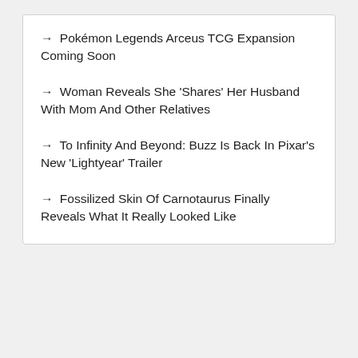→ Pokémon Legends Arceus TCG Expansion Coming Soon
→ Woman Reveals She 'Shares' Her Husband With Mom And Other Relatives
→ To Infinity And Beyond: Buzz Is Back In Pixar's New 'Lightyear' Trailer
→ Fossilized Skin Of Carnotaurus Finally Reveals What It Really Looked Like